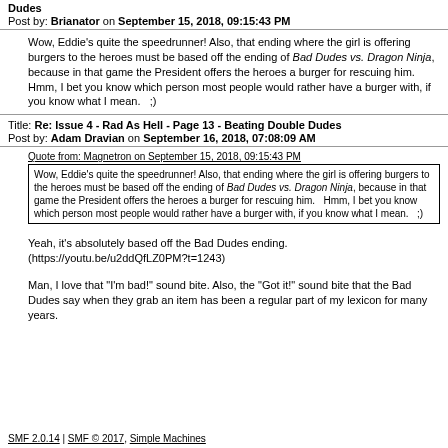Dudes
Post by: Brianator on September 15, 2018, 09:15:43 PM
Wow, Eddie's quite the speedrunner!  Also, that ending where the girl is offering burgers to the heroes must be based off the ending of Bad Dudes vs. Dragon Ninja, because in that game the President offers the heroes a burger for rescuing him.  Hmm, I bet you know which person most people would rather have a burger with, if you know what I mean.   ;)
Title: Re: Issue 4 - Rad As Hell - Page 13 - Beating Double Dudes
Post by: Adam Dravian on September 16, 2018, 07:08:09 AM
Quote from: Magnetron on September 15, 2018, 09:15:43 PM
Wow, Eddie's quite the speedrunner!  Also, that ending where the girl is offering burgers to the heroes must be based off the ending of Bad Dudes vs. Dragon Ninja, because in that game the President offers the heroes a burger for rescuing him.   Hmm, I bet you know which person most people would rather have a burger with, if you know what I mean.   ;)
Yeah, it's absolutely based off the Bad Dudes ending.
(https://youtu.be/u2ddQfLZ0PM?t=1243)
Man, I love that "I'm bad!" sound bite. Also, the "Got it!" sound bite that the Bad Dudes say when they grab an item has been a regular part of my lexicon for many years.
SMF 2.0.14 | SMF © 2017, Simple Machines